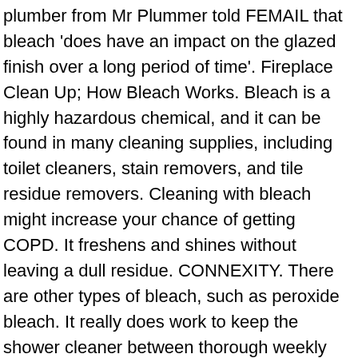plumber from Mr Plummer told FEMAIL that bleach 'does have an impact on the glazed finish over a long period of time'. Fireplace Clean Up; How Bleach Works. Bleach is a highly hazardous chemical, and it can be found in many cleaning supplies, including toilet cleaners, stain removers, and tile residue removers. Cleaning with bleach might increase your chance of getting COPD. It freshens and shines without leaving a dull residue. CONNEXITY. There are other types of bleach, such as peroxide bleach. It really does work to keep the shower cleaner between thorough weekly cleanings. Is This Your Brand? Let the cleaner sit for 10 to 15 minutes so that it can work. Disinfectant Toilet Bowl Cleaner (14) The Works. Needs Clean Up Size: 23 oz. However, you can use straight bleach with water to destroy mold, mildew, bacteria and many stains on your bathtub. Asidufoam Heavy-Duty Bathroom Cleaner, 32-oz. Just wipe and toss. Disinfectant Toilet Bowl Cleaner Thick (5) The Works. Cleaning the bathroom is a dirty job, and other than the kitchen, it can take the most time and work because of all